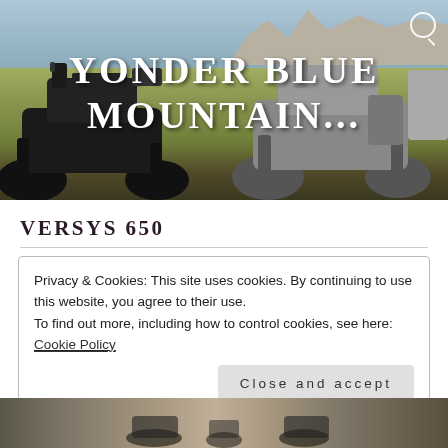[Figure (photo): Hero banner photo showing two motorcycles parked on grass near a lake or reservoir, with rocky hills in the background. The text 'YONDER BLUE MOUNTAIN...' is overlaid in large white bold letters. A search icon is visible in the top-right corner.]
YONDER BLUE MOUNTAIN...
VERSYS 650
Privacy & Cookies: This site uses cookies. By continuing to use this website, you agree to their use.
To find out more, including how to control cookies, see here: Cookie Policy
Close and accept
[Figure (photo): Partial view of a motorcycle or vehicle at the bottom of the page, cropped.]